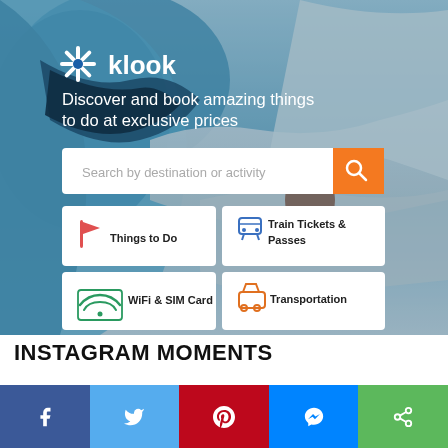[Figure (screenshot): Klook travel booking website hero section with snowy mountain background, logo, tagline, search bar, and category cards]
Discover and book amazing things to do at exclusive prices
INSTAGRAM MOMENTS
[Figure (infographic): Social media sharing bar with Facebook, Twitter, Pinterest, Messenger, and share buttons]